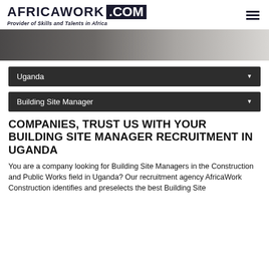AFRICAWORK .COM — Provider of Skills and Talents in Africa
[Figure (photo): Partial hero image showing a person, fading from dark on left to light gray on right]
Uganda ▼
Building Site Manager ▼
COMPANIES, TRUST US WITH YOUR BUILDING SITE MANAGER RECRUITMENT IN UGANDA
You are a company looking for Building Site Managers in the Construction and Public Works field in Uganda? Our recruitment agency AfricaWork Construction identifies and preselects the best Building Site...